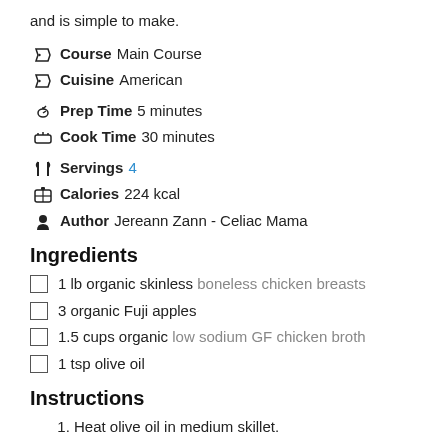and is simple to make.
Course Main Course
Cuisine American
Prep Time 5 minutes
Cook Time 30 minutes
Servings 4
Calories 224 kcal
Author Jereann Zann - Celiac Mama
Ingredients
1 lb organic skinless boneless chicken breasts
3 organic Fuji apples
1.5 cups organic low sodium GF chicken broth
1 tsp olive oil
Instructions
1. Heat olive oil in medium skillet.